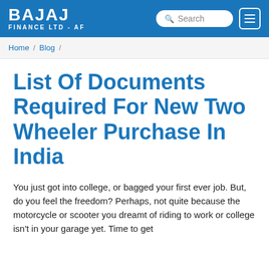BAJAJ FINANCE LTD - AF
Home / Blog /
List Of Documents Required For New Two Wheeler Purchase In India
You just got into college, or bagged your first ever job. But, do you feel the freedom? Perhaps, not quite because the motorcycle or scooter you dreamt of riding to work or college isn't in your garage yet. Time to get